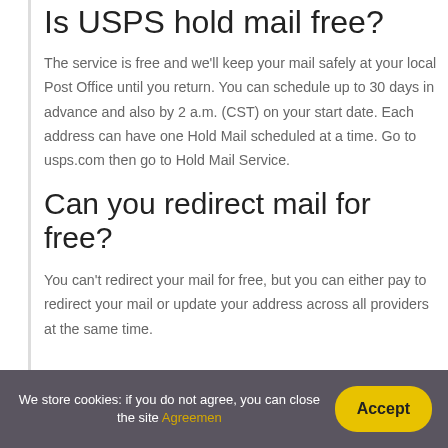Is USPS hold mail free?
The service is free and we'll keep your mail safely at your local Post Office until you return. You can schedule up to 30 days in advance and also by 2 a.m. (CST) on your start date. Each address can have one Hold Mail scheduled at a time. Go to usps.com then go to Hold Mail Service.
Can you redirect mail for free?
You can't redirect your mail for free, but you can either pay to redirect your mail or update your address across all providers at the same time.
We store cookies: if you do not agree, you can close the site Agreemen